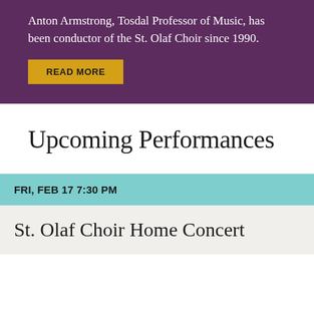Anton Armstrong, Tosdal Professor of Music, has been conductor of the St. Olaf Choir since 1990.
READ MORE
Upcoming Performances
FRI, FEB 17 7:30 PM
St. Olaf Choir Home Concert